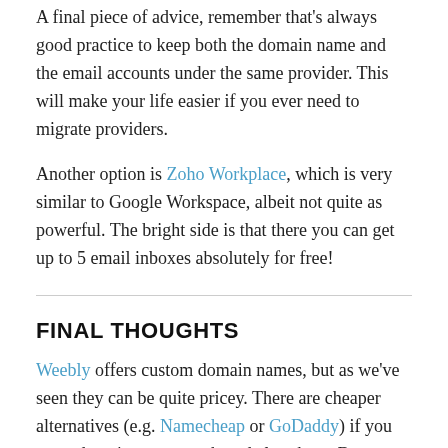A final piece of advice, remember that's always good practice to keep both the domain name and the email accounts under the same provider. This will make your life easier if you ever need to migrate providers.
Another option is Zoho Workplace, which is very similar to Google Workspace, albeit not quite as powerful. The bright side is that there you can get up to 5 email inboxes absolutely for free!
Final thoughts
Weebly offers custom domain names, but as we've seen they can be quite pricey. There are cheaper alternatives (e.g. Namecheap or GoDaddy) if you use a domain name purchased elsewhere. But remember, connecting your